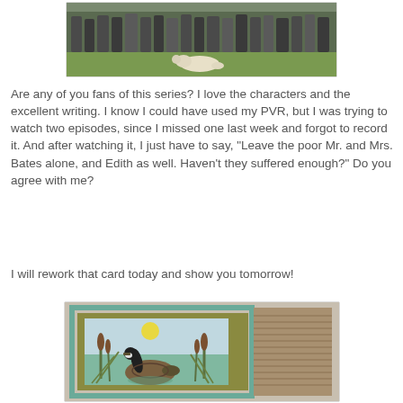[Figure (photo): Group photo of people standing on grass with a yellow Labrador dog lying in the foreground]
Are any of you fans of this series?  I love the characters and the excellent writing. I know I could have used my PVR, but I was trying to watch two episodes, since I missed one last week and forgot to record it. And after watching it, I just have to say, "Leave the poor Mr. and Mrs. Bates alone, and Edith as well.  Haven't they suffered enough?"  Do you agree with me?
I will rework that card today and show you tomorrow!
[Figure (photo): Handmade greeting card with a painted scene of a Canada goose on water surrounded by cattails and reeds, with a yellow sun, set in a frame with wood-grain and teal border elements]